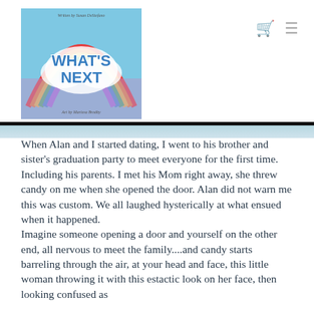[Figure (illustration): Book cover for 'What's Next' showing a rainbow and colorful illustrated text, with credits at top and bottom]
When Alan and I started dating, I went to his brother and sister's graduation party to meet everyone for the first time. Including his parents. I met his Mom right away, she threw candy on me when she opened the door. Alan did not warn me this was custom. We all laughed hysterically at what ensued when it happened.
Imagine someone opening a door and yourself on the other end, all nervous to meet the family....and candy starts barreling through the air, at your head and face, this little woman throwing it with this estactic look on her face, then looking confused as